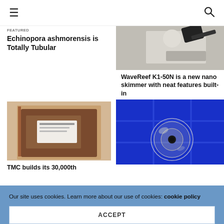FEATURED
Echinopora ashmorensis is Totally Tubular
[Figure (photo): Close-up photo of what appears to be aquarium equipment on a grey background]
WaveReef K1-50N is a new nano skimmer with neat features built-in
[Figure (photo): Photo of a dark notebook/journal on a wooden table surface]
TMC builds its 30,000th
[Figure (photo): Close-up photo of a circular glass lens or skimmer neck against a bright blue tiled background]
Our site uses cookies. Learn more about our use of cookies: cookie policy
ACCEPT